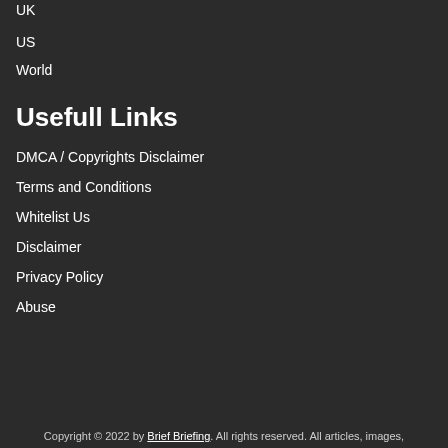UK
US
World
Usefull Links
DMCA / Copyrights Disclaimer
Terms and Conditions
Whitelist Us
Disclaimer
Privacy Policy
Abuse
Copyright © 2022 by Brief Briefing. All rights reserved. All articles, images,